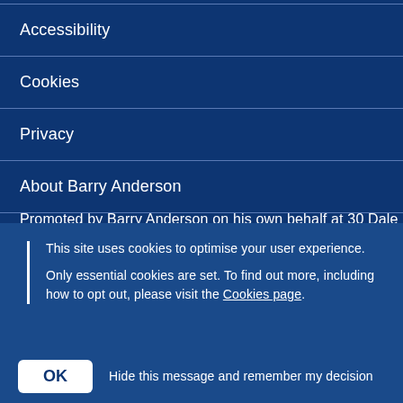Accessibility
Cookies
Privacy
About Barry Anderson
Promoted by Barry Anderson on his own behalf at 30 Dale
This site uses cookies to optimise your user experience.
Only essential cookies are set. To find out more, including how to opt out, please visit the Cookies page.
OK   Hide this message and remember my decision